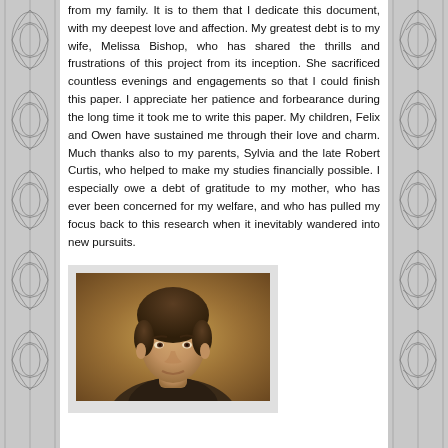from my family. It is to them that I dedicate this document, with my deepest love and affection. My greatest debt is to my wife, Melissa Bishop, who has shared the thrills and frustrations of this project from its inception. She sacrificed countless evenings and engagements so that I could finish this paper. I appreciate her patience and forbearance during the long time it took me to write this paper. My children, Felix and Owen have sustained me through their love and charm. Much thanks also to my parents, Sylvia and the late Robert Curtis, who helped to make my studies financially possible. I especially owe a debt of gratitude to my mother, who has ever been concerned for my welfare, and who has pulled my focus back to this research when it inevitably wandered into new pursuits.
[Figure (photo): Portrait photograph of a man, appearing to be a classic or historical portrait painting style with warm brown/golden background tones. The subject is a young man with dark hair.]